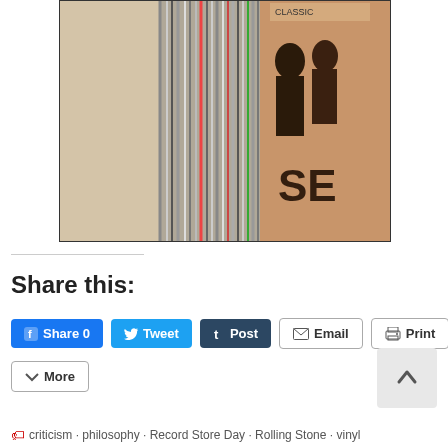[Figure (photo): Close-up photograph of vinyl record albums stacked/fanned, showing their spines and edges against a light surface. One album cover visible on the right side.]
Share this:
Share 0  Tweet  Post  Email  Print  More
criticism · philosophy · Record Store Day · Rolling Stone · vinyl